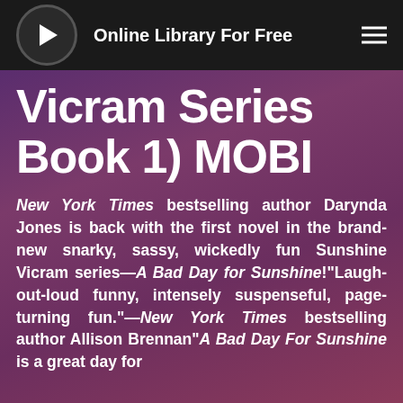Online Library For Free
Vicram Series Book 1) MOBI
New York Times bestselling author Darynda Jones is back with the first novel in the brand-new snarky, sassy, wickedly fun Sunshine Vicram series—A Bad Day for Sunshine!"Laugh-out-loud funny, intensely suspenseful, page-turning fun."—New York Times bestselling author Allison Brennan"A Bad Day For Sunshine is a great day for...